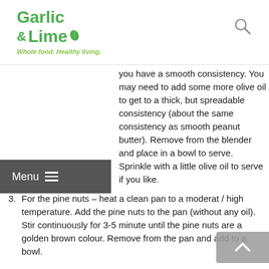Garlic & Lime — Whole food. Healthy living.
you have a smooth consistency. You may need to add some more olive oil to get to a thick, but spreadable consistency (about the same consistency as smooth peanut butter). Remove from the blender and place in a bowl to serve. Sprinkle with a little olive oil to serve if you like.
3. For the pine nuts – heat a clean pan to a moderate / high temperature. Add the pine nuts to the pan (without any oil). Stir continuously for 3-5 minutes until the pine nuts are a golden brown colour. Remove from the pan and add to a bowl.
4. This is designed as a meal that is assembled by everyone at the table.
5. Start with romaine or other strong leafed lettuce leaves. Top with hummus, followed by the chicken mixture, and sprinkle with the pine nuts and